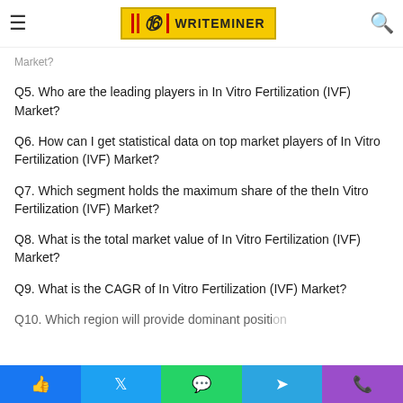WriteMiner logo header
Q5. Who are the leading players in In Vitro Fertilization (IVF) Market?
Q6. How can I get statistical data on top market players of In Vitro Fertilization (IVF) Market?
Q7. Which segment holds the maximum share of the theIn Vitro Fertilization (IVF) Market?
Q8. What is the total market value of In Vitro Fertilization (IVF) Market?
Q9. What is the CAGR of In Vitro Fertilization (IVF) Market?
Q10. Which region will provide dominant position in...
Facebook | Twitter | WhatsApp | Telegram | Phone